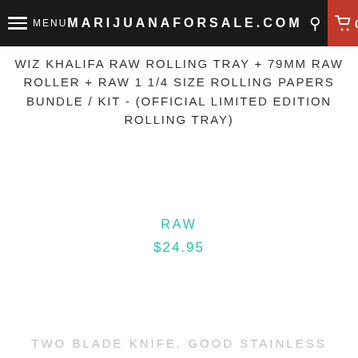MENU  MARIJUANAFORSALE.COM  0
WIZ KHALIFA RAW ROLLING TRAY + 79MM RAW ROLLER + RAW 1 1/4 SIZE ROLLING PAPERS BUNDLE / KIT - (OFFICIAL LIMITED EDITION ROLLING TRAY)
RAW
$24.95
TWO BLADE KNIFE. GOOD STAINLESS